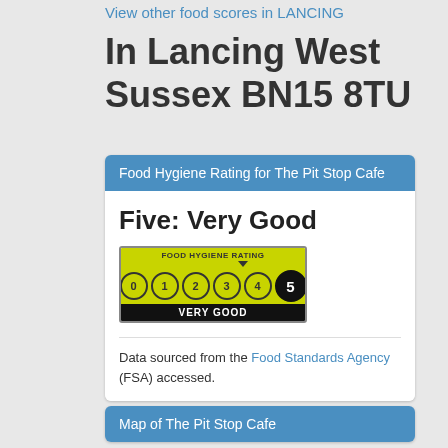View other food scores in LANCING
In Lancing West Sussex BN15 8TU
Food Hygiene Rating for The Pit Stop Cafe
Five: Very Good
[Figure (infographic): Food Hygiene Rating badge showing rating 5 - Very Good. The badge has a yellow-green background with circles numbered 0 through 4 and a filled black circle with the number 5 highlighted. Below the circles is a black bar with text VERY GOOD.]
Data sourced from the Food Standards Agency (FSA) accessed.
Map of The Pit Stop Cafe